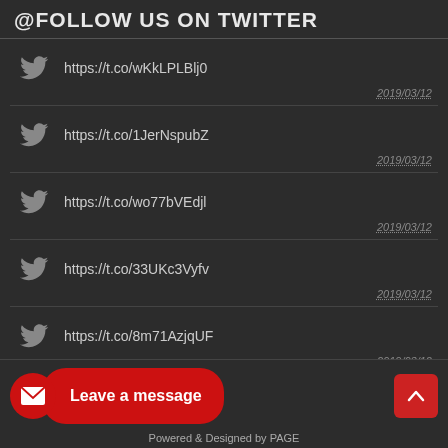@FOLLOW US ON TWITTER
https://t.co/wKkLPLBlj0  2019/03/12
https://t.co/1JerNspubZ  2019/03/12
https://t.co/wo77bVEdjl  2019/03/12
https://t.co/33UKc3Vyfv  2019/03/12
https://t.co/8m71AzjqUF  2019/03/12
Powered & Designed by PAGE